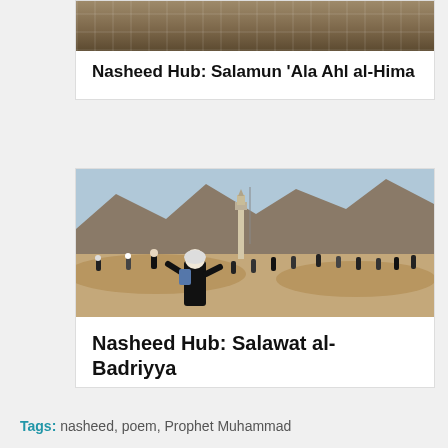[Figure (photo): Partial view of a mosque interior with ornate tilework and arched doorways, cropped at top]
Nasheed Hub: Salamun ‘Ala Ahl al-Hima
[Figure (photo): Desert landscape with mountains in background, pilgrims and visitors walking on sandy terrain near a minaret]
Nasheed Hub: Salawat al-Badriyya
Tags: nasheed, poem, Prophet Muhammad